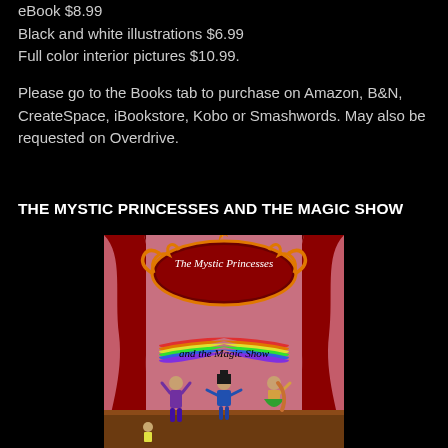eBook $8.99
Black and white illustrations $6.99
Full color interior pictures $10.99.
Please go to the Books tab to purchase on Amazon, B&N, CreateSpace, iBookstore, Kobo or Smashwords. May also be requested on Overdrive.
THE MYSTIC PRINCESSES AND THE MAGIC SHOW
[Figure (illustration): Book cover for 'The Mystic Princesses and the Magic Show' showing a theatrical stage with red curtains, an ornate dark red sign reading 'The Mystic Princesses', a rainbow banner reading 'and the Magic Show', and three costumed characters on stage.]